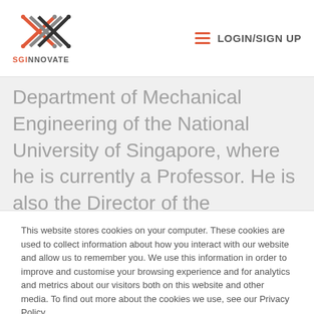SGInnovate — LOGIN/SIGN UP
Department of Mechanical Engineering of the National University of Singapore, where he is currently a Professor. He is also the Director of the Advanced Robotics Centre. His research interests span the areas of robotics, mechatronics, and applications of intelligent systems methodologies.
This website stores cookies on your computer. These cookies are used to collect information about how you interact with our website and allow us to remember you. We use this information in order to improve and customise your browsing experience and for analytics and metrics about our visitors both on this website and other media. To find out more about the cookies we use, see our Privacy Policy.
Accept